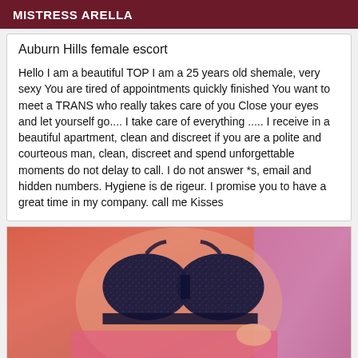MISTRESS ARELLA
Auburn Hills female escort
Hello I am a beautiful TOP I am a 25 years old shemale, very sexy You are tired of appointments quickly finished You want to meet a TRANS who really takes care of you Close your eyes and let yourself go.... I take care of everything ..... I receive in a beautiful apartment, clean and discreet if you are a polite and courteous man, clean, discreet and spend unforgettable moments do not delay to call. I do not answer *s, email and hidden numbers. Hygiene is de rigeur. I promise you to have a great time in my company. call me Kisses
[Figure (photo): Photo showing person wearing dark sparkly bra top against pink/orange background]